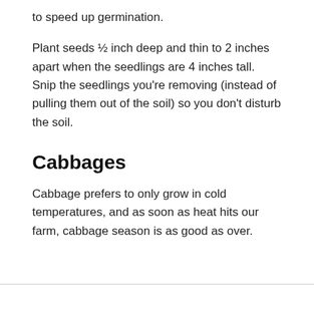to speed up germination.
Plant seeds ½ inch deep and thin to 2 inches apart when the seedlings are 4 inches tall. Snip the seedlings you're removing (instead of pulling them out of the soil) so you don't disturb the soil.
Cabbages
Cabbage prefers to only grow in cold temperatures, and as soon as heat hits our farm, cabbage season is as good as over.